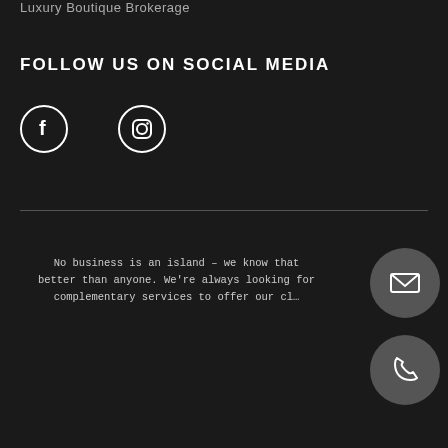Luxury Boutique Brokerage
FOLLOW US ON SOCIAL MEDIA
[Figure (illustration): Facebook and Instagram social media icons (circle outlines with f and camera icons)]
No business is an island – we know that better than anyone. We're always looking for complementary services to offer our cl…